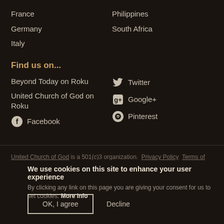France
Germany
Italy
Philippines
South Africa
Find us on...
Beyond Today on Roku
United Church of God on Roku
Facebook
Twitter
Google+
Pinterest
United Church of God is a 501(c)3 organization. Privacy Policy Terms of Use
© 1995–2022 All correspondence and questions should be sent to info@ucg.org. Send inquiries regarding the operation of this Web site to webmaster@ucg.org.
We use cookies on this site to enhance your user experience
By clicking any link on this page you are giving your consent for us to set cookies. More info
OK, I agree Decline